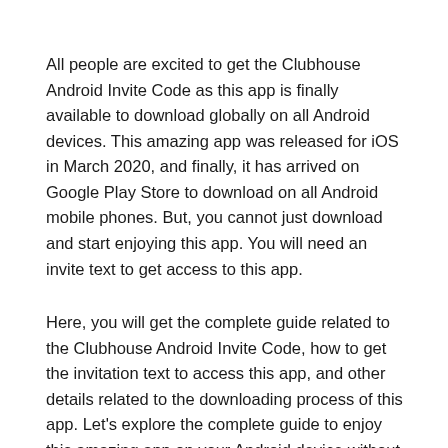All people are excited to get the Clubhouse Android Invite Code as this app is finally available to download globally on all Android devices. This amazing app was released for iOS in March 2020, and finally, it has arrived on Google Play Store to download on all Android mobile phones. But, you cannot just download and start enjoying this app. You will need an invite text to get access to this app.
Here, you will get the complete guide related to the Clubhouse Android Invite Code, how to get the invitation text to access this app, and other details related to the downloading process of this app. Let's explore the complete guide to enjoy this amazing app on your Android device without any delay.